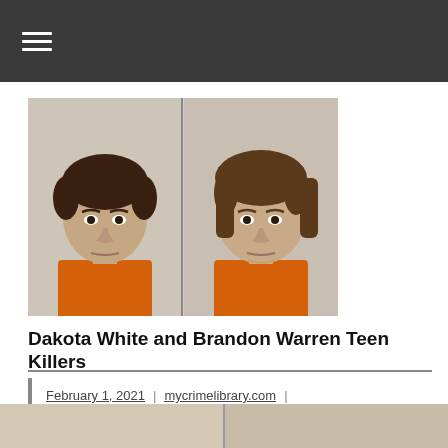≡ (navigation menu icon)
[Figure (photo): Two side-by-side mugshot photos of two teenage males wearing orange jail uniforms against a white wall. Left photo shows a shorter-haired teen with dark curly hair. Right photo shows a teen with longer straight brown hair.]
Dakota White and Brandon Warren Teen Killers
February 1, 2021 | mycrimelibrary.com | No comments |
[Figure (photo): Partial bottom strip showing the tops of two more photos, cut off at the bottom of the page, separated by a vertical divider line.]